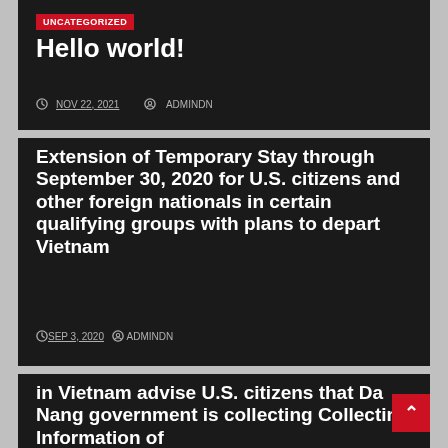UNCATEGORIZED
Hello world!
NOV 22, 2021   ADMINDN
Extension of Temporary Stay through September 30, 2020 for U.S. citizens and other foreign nationals in certain qualifying groups with plans to depart Vietnam
SEP 3, 2020   ADMINDN
in Vietnam advise U.S. citizens that Da Nang government is collecting Collecting Information of